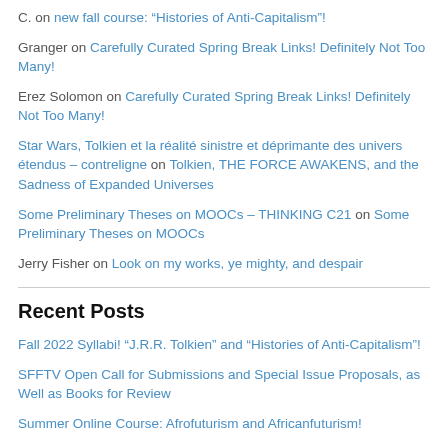C. on new fall course: “Histories of Anti-Capitalism”!
Granger on Carefully Curated Spring Break Links! Definitely Not Too Many!
Erez Solomon on Carefully Curated Spring Break Links! Definitely Not Too Many!
Star Wars, Tolkien et la réalité sinistre et déprimante des univers étendus – contreligne on Tolkien, THE FORCE AWAKENS, and the Sadness of Expanded Universes
Some Preliminary Theses on MOOCs – THINKING C21 on Some Preliminary Theses on MOOCs
Jerry Fisher on Look on my works, ye mighty, and despair
Recent Posts
Fall 2022 Syllabi! “J.R.R. Tolkien” and “Histories of Anti-Capitalism”!
SFFTV Open Call for Submissions and Special Issue Proposals, as Well as Books for Review
Summer Online Course: Afrofuturism and Africanfuturism!
new fall course: “Histories of Anti-Capitalism”!